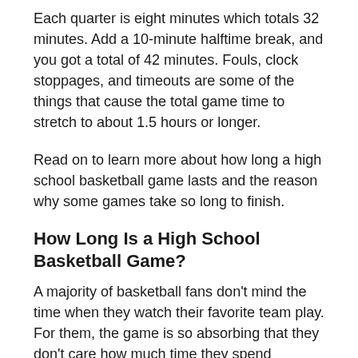Each quarter is eight minutes which totals 32 minutes. Add a 10-minute halftime break, and you got a total of 42 minutes. Fouls, clock stoppages, and timeouts are some of the things that cause the total game time to stretch to about 1.5 hours or longer.
Read on to learn more about how long a high school basketball game lasts and the reason why some games take so long to finish.
How Long Is a High School Basketball Game?
A majority of basketball fans don't mind the time when they watch their favorite team play. For them, the game is so absorbing that they don't care how much time they spend watching. It's just pure enjoyment, especially if your team wins. But it's quite the reverse if your team loses.